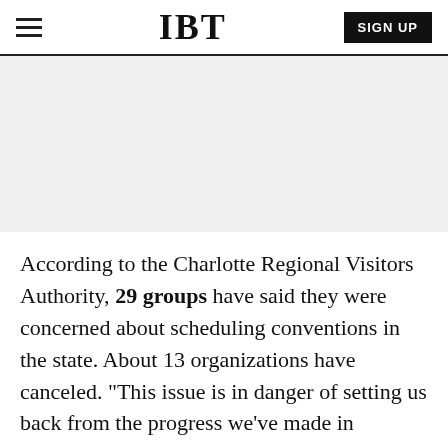IBT | SIGN UP
[Figure (other): Advertisement placeholder — gray rectangular banner area]
According to the Charlotte Regional Visitors Authority, 29 groups have said they were concerned about scheduling conventions in the state. About 13 organizations have canceled. "This issue is in danger of setting us back from the progress we've made in positioning Charlotte as an